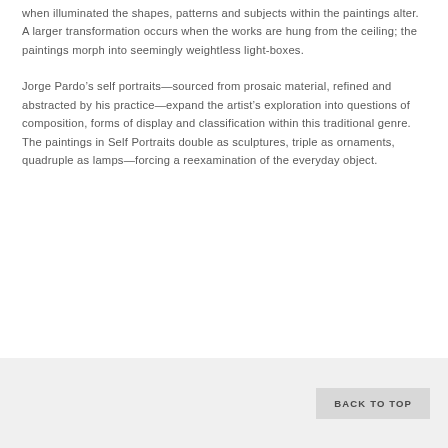when illuminated the shapes, patterns and subjects within the paintings alter. A larger transformation occurs when the works are hung from the ceiling; the paintings morph into seemingly weightless light-boxes.
Jorge Pardo's self portraits—sourced from prosaic material, refined and abstracted by his practice—expand the artist's exploration into questions of composition, forms of display and classification within this traditional genre. The paintings in Self Portraits double as sculptures, triple as ornaments, quadruple as lamps—forcing a reexamination of the everyday object.
BACK TO TOP